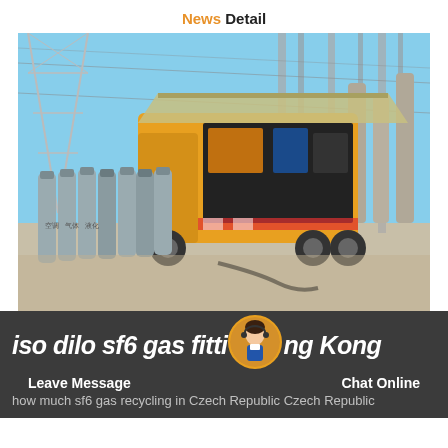News Detail
[Figure (photo): Yellow SF6 gas service truck at an electrical substation with rows of grey gas cylinders in the foreground and high-voltage transmission equipment in the background.]
iso dilo sf6 gas fitting Hong Kong
how much sf6 gas recycling in Czech Republic Czech Republic
Leave Message   Chat Online